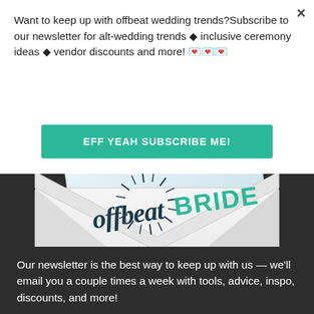Want to keep up with offbeat wedding trends?Subscribe to our newsletter for alt-wedding trends ◆ inclusive ceremony ideas ◆ vendor discounts and more! 💌💌💌
EFF YEAH SUBSCRIBE ME!
[Figure (illustration): An envelope opened with an Offbeat Bride logo card emerging from it. The envelope is white/light grey. The card shows 'offbeat BRIDE' in dark teal/navy lettering with a starburst illustration.]
Our newsletter is the best way to keep up with us — we'll email you a couple times a week with tools, advice, inspo, discounts, and more!